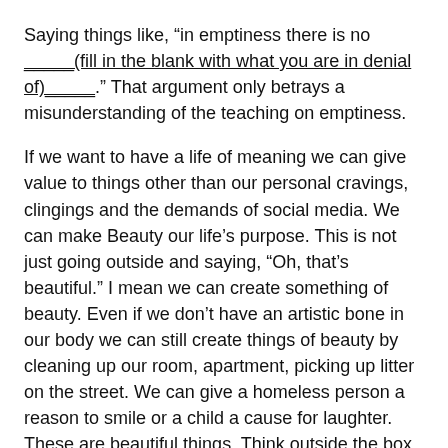Saying things like, “in emptiness there is no _____(fill in the blank with what you are in denial of)_____.” That argument only betrays a misunderstanding of the teaching on emptiness.
If we want to have a life of meaning we can give value to things other than our personal cravings, clingings and the demands of social media. We can make Beauty our life’s purpose. This is not just going outside and saying, “Oh, that’s beautiful.” I mean we can create something of beauty. Even if we don’t have an artistic bone in our body we can still create things of beauty by cleaning up our room, apartment, picking up litter on the street. We can give a homeless person a reason to smile or a child a cause for laughter. These are beautiful things. Think outside the box here.